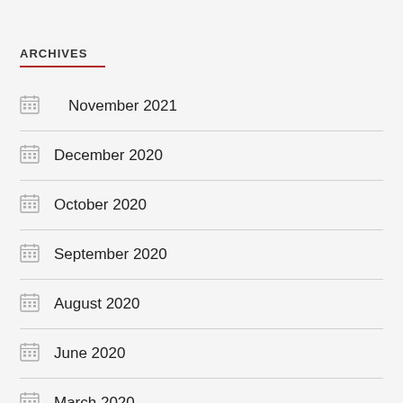ARCHIVES
November 2021
December 2020
October 2020
September 2020
August 2020
June 2020
March 2020